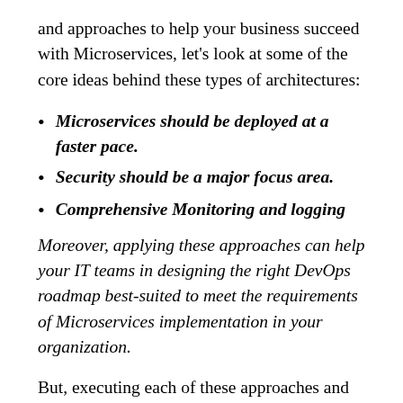and approaches to help your business succeed with Microservices, let's look at some of the core ideas behind these types of architectures:
Microservices should be deployed at a faster pace.
Security should be a major focus area.
Comprehensive Monitoring and logging
Moreover, applying these approaches can help your IT teams in designing the right DevOps roadmap best-suited to meet the requirements of Microservices implementation in your organization.
But, executing each of these approaches and